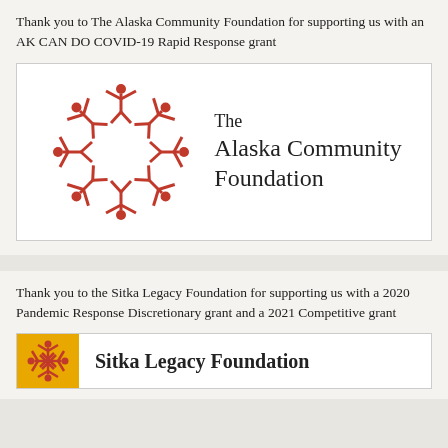Thank you to The Alaska Community Foundation for supporting us with an AK CAN DO COVID-19 Rapid Response grant
[Figure (logo): The Alaska Community Foundation logo: red starburst of human figures around a white star center, with text 'The Alaska Community Foundation' to the right]
Thank you to the Sitka Legacy Foundation for supporting us with a 2020 Pandemic Response Discretionary grant and a 2021 Competitive grant
[Figure (logo): Sitka Legacy Foundation logo: gold/yellow square with red starburst figure, white divider, and bold text 'Sitka Legacy Foundation' on white background]